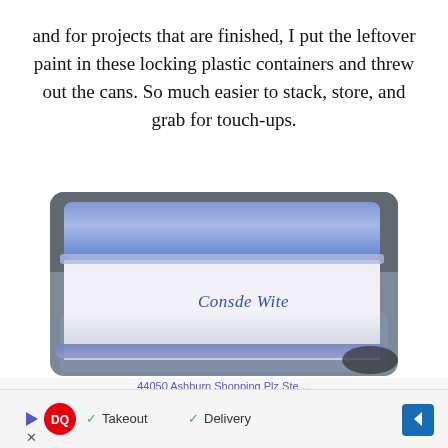and for projects that are finished, I put the leftover paint in these locking plastic containers and threw out the cans. So much easier to stack, store, and grab for touch-ups.
[Figure (photo): Photo of a clear plastic locking container with a blue lid, stacked on top of another similar container. The container is labeled 'Consde Wite' written in blue marker on the side.]
44050 Ashburn Shopping Plz Ste ...
[Figure (screenshot): Advertisement bar showing Dairy Queen (DQ) logo with Takeout and Delivery checkmarks and a blue navigation arrow on the right.]